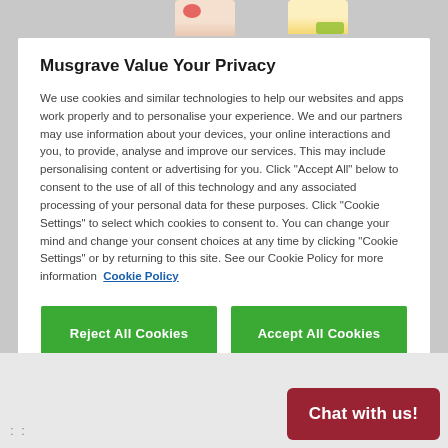[Figure (screenshot): Partial product images visible at top of page behind modal overlay]
Musgrave Value Your Privacy
We use cookies and similar technologies to help our websites and apps work properly and to personalise your experience. We and our partners may use information about your devices, your online interactions and you, to provide, analyse and improve our services. This may include personalising content or advertising for you. Click “Accept All” below to consent to the use of all of this technology and any associated processing of your personal data for these purposes. Click “Cookie Settings” to select which cookies to consent to. You can change your mind and change your consent choices at any time by clicking “Cookie Settings” or by returning to this site. See our Cookie Policy for more information  Cookie Policy
Reject All Cookies
Accept All Cookies
Cookies Settings
Chat with us!